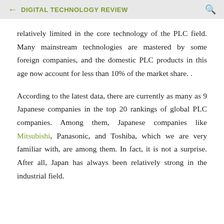← DIGITAL TECHNOLOGY REVIEW 🔍
relatively limited in the core technology of the PLC field. Many mainstream technologies are mastered by some foreign companies, and the domestic PLC products in this age now account for less than 10% of the market share. .
According to the latest data, there are currently as many as 9 Japanese companies in the top 20 rankings of global PLC companies. Among them, Japanese companies like Mitsubishi, Panasonic, and Toshiba, which we are very familiar with, are among them. In fact, it is not a surprise. After all, Japan has always been relatively strong in the industrial field.